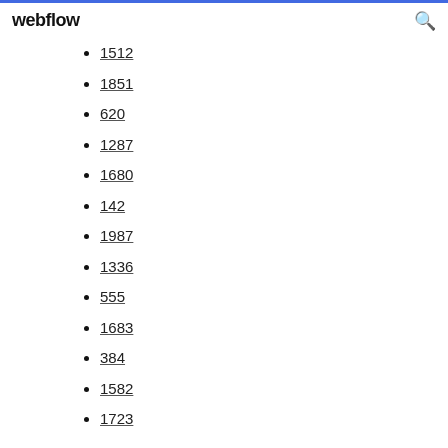webflow
1512
1851
620
1287
1680
142
1987
1336
555
1683
384
1582
1723